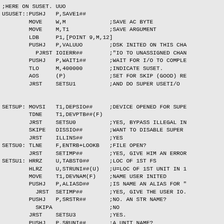;HERE ON SUSET. UUO
USUSET::PUSHJ   P,SAVE1##
        MOVE    W,M             ;SAVE AC BYTE
        MOVE    M,T1            ;SAVE ARGUMENT
        LDB     P1,[POINT 9,M,12]
        PUSHJ   P,VALUUO        ;DSK INITED ON THIS CHA
          PJRST IOIERR##        ;"IO TO UNASSIGNED CHAN
        PUSHJ   P,WAIT1##       ;WAIT FOR I/O TO COMPLE
        TLO     M,400000        ;INDICATE SUSET.
        AOS     (P)             ;SET FOR SKIP (GOOD) RE
        JRST    SETSU1          ;AND DO SUPER USETI/O


SETSUP: MOVSI   T1,DEPSIO##     ;DEVICE OPENED FOR SUPE
        TDNE    T1,DEVPTB##(F)
        JRST    SETSU0          ;YES, BYPASS ILLEGAL IN
        SKIPE   DISSIO##        ;WANT TO DISABLE SUPER
        JRST    ILLINS##        ;YES
SETSU0: TLNE    F,ENTRB+LOOKB   ;FILE OPEN?
        JRST    SETIMP##        ;YES, GIVE HIM AN ERROR
SETSU1: HRRZ    U,TABST0##      ;LOC OF 1ST FS
        HLRZ    U,STRUNI##(U)   ;U=LOC OF 1ST UNIT IN 1
        MOVE    T1,DEVNAM(F)    ;NAME USER INITED
        PUSHJ   P,ALIASD##      ;IS NAME AN ALIAS FOR "
          JRST  SETIMP##        ;YES, GIVE THE USER IO.
        PUSHJ   P,SRSTR##       ;NO. AN STR NAME?
          SKIPA                 ;NO
        JRST    SETSU3          ;YES.
        PUSHJ   P,SRUNI##       ;A UNIT NAME?
          POPJ  P,              ;NO. RETURN WITHOUT DO